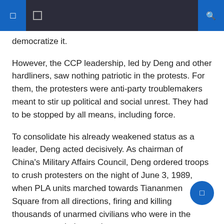[navigation header with icons]
democratize it.
However, the CCP leadership, led by Deng and other hardliners, saw nothing patriotic in the protests. For them, the protesters were anti-party troublemakers meant to stir up political and social unrest. They had to be stopped by all means, including force.
To consolidate his already weakened status as a leader, Deng acted decisively. As chairman of China's Military Affairs Council, Deng ordered troops to crush protesters on the night of June 3, 1989, when PLA units marched towards Tiananmen Square from all directions, firing and killing thousands of unarmed civilians who were in the square or on their way there.
Most Americans, myself included, watched in disbelief and